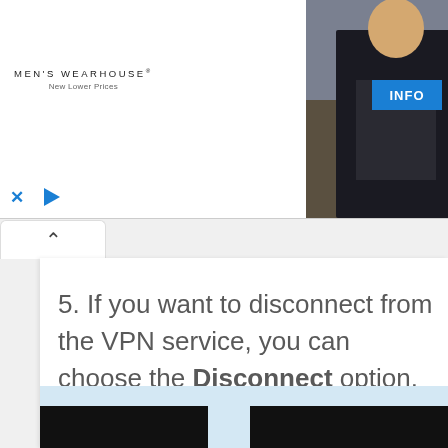[Figure (screenshot): Men's Wearhouse advertisement banner showing a couple in formal wear, a man in a suit, an INFO button, and ad controls (X and play button). Logo reads MEN'S WEARHOUSE® New Lower Prices.]
[Figure (screenshot): Collapse/expand chevron button (^) at top of content area]
5. If you want to disconnect from the VPN service, you can choose the Disconnect option.
[Figure (screenshot): Bottom portion of a screenshot showing dark UI elements on a light blue background]